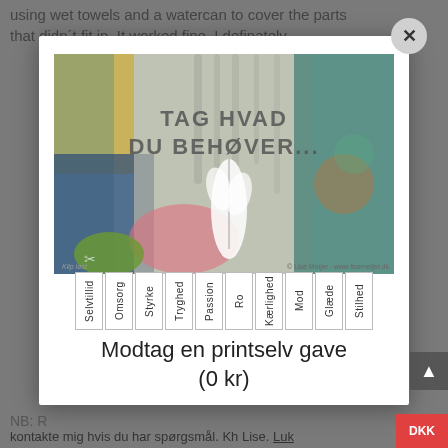using wet towels and a watercan to cover the parts that didn´t fit in. It worked fine. I definately
[Figure (illustration): Modal popup dialog showing a decorative colorful artwork image with text 'TAG HVAD DU BEHØVER...' and a white feather in center. Below the image are vertical rotated word tags: Selvtillid, Omsorg, Styrke, Tryghed, Passion, Ro, Kærlighed, Mod, Glæde, Stilhed. Below tags is text 'Modtag en printselv gave (0 kr)']
NB: R
kontakte mig hvis du har spørgsmål. Kh Lise. Luk